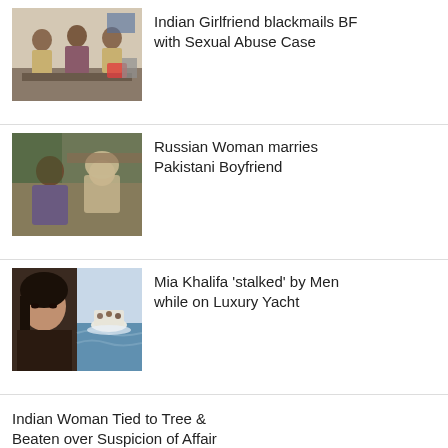[Figure (photo): Three people standing behind a table in an office setting]
Indian Girlfriend blackmails BF with Sexual Abuse Case
[Figure (photo): A man and woman sitting together, woman wearing a headscarf]
Russian Woman marries Pakistani Boyfriend
[Figure (photo): Split image: woman's face on left, boat on water on right]
Mia Khalifa 'stalked' by Men while on Luxury Yacht
Indian Woman Tied to Tree & Beaten over Suspicion of Affair
🇬🇧 English ∨